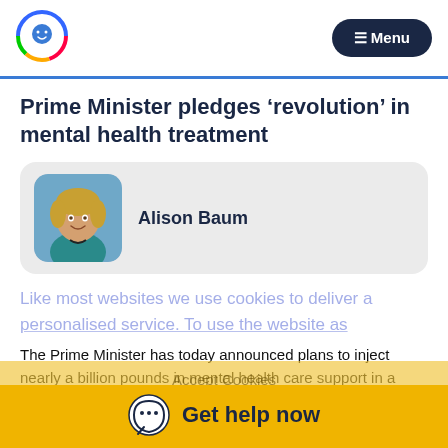[Figure (logo): Circular logo with a smiley face icon and colorful rainbow ring border]
[Figure (screenshot): Dark navy pill-shaped Menu button with hamburger icon]
Prime Minister pledges ‘revolution’ in mental health treatment
[Figure (photo): Photo of Alison Baum, a woman with blonde hair wearing a teal jacket]
Alison Baum
Like most websites we use cookies to deliver a personalised service. To use the website as...
The Prime Minister has today announced plans to inject nearly a billion pounds in mental health care support in a keynote speech at the charity Family Action in London.
In his keynote speech, the Prime Minister said:
Accept Cookies
Get help now